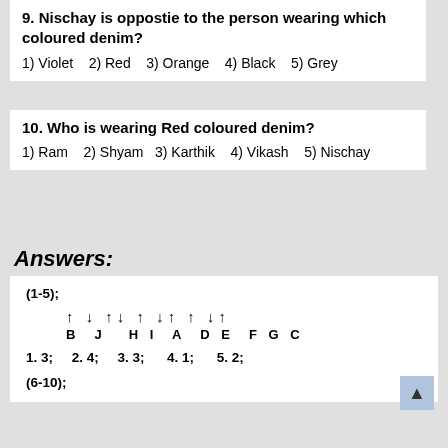9. Nischay is oppostie to the person wearing which coloured denim?
1) Violet  2) Red  3) Orange  4) Black  5) Grey
10. Who is wearing Red coloured denim?
1) Ram  2) Shyam  3) Karthik  4) Vikash  5) Nischay
Answers:
(1-5);
↑ ↓ ↑↓ ↑ ↓↑ ↑ ↓↑
B J HI A DE F G C
1. 3;  2. 4;  3. 3;  4. 1;  5. 2;
(6-10);